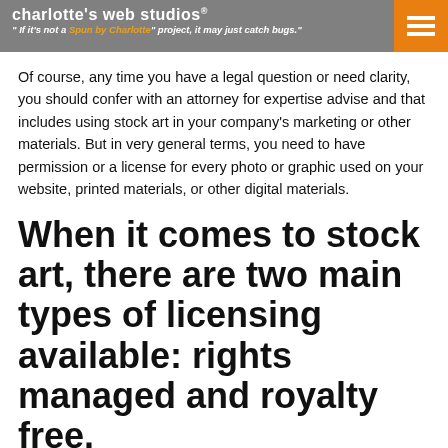charlotte's web studios® "If it's not a Spun by Charlotte project, it may just catch bugs."
Of course, any time you have a legal question or need clarity, you should confer with an attorney for expertise advise and that includes using stock art in your company's marketing or other materials. But in very general terms, you need to have permission or a license for every photo or graphic used on your website, printed materials, or other digital materials.
When it comes to stock art, there are two main types of licensing available: rights managed and royalty free.
Rights Managed Stock Art Licensing
With rights managed licensing, your use of an image is